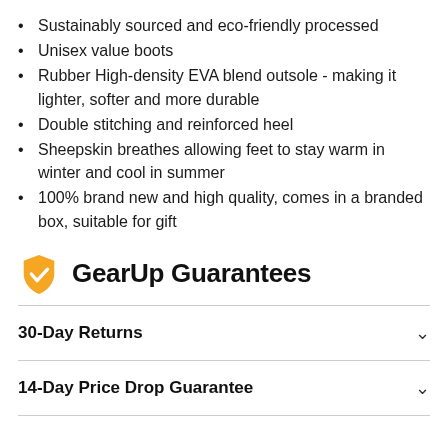Sustainably sourced and eco-friendly processed
Unisex value boots
Rubber High-density EVA blend outsole - making it lighter, softer and more durable
Double stitching and reinforced heel
Sheepskin breathes allowing feet to stay warm in winter and cool in summer
100% brand new and high quality, comes in a branded box, suitable for gift
GearUp Guarantees
30-Day Returns
14-Day Price Drop Guarantee